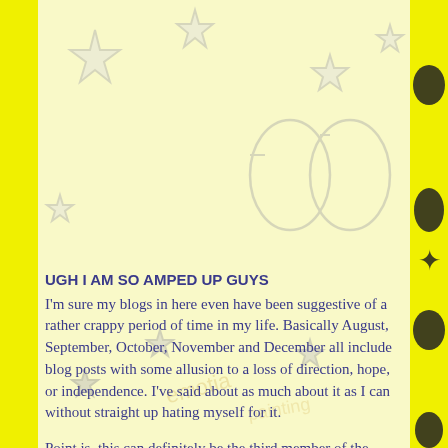[Figure (illustration): Light yellow page background with pale grey decorative star and teardrop/glasses shapes scattered across the upper portion. Yellow side bars on left and right edges with black cutout decorative shapes on the right bar.]
UGH I AM SO AMPED UP GUYS
I'm sure my blogs in here even have been suggestive of a rather crappy period of time in my life. Basically August, September, October, November and December all include blog posts with some allusion to a loss of direction, hope, or independence. I've said about as much about it as I can without straight up hating myself for it.
Point is, this can definitely be the third member of the Emotia painting series. Whoever said these ever needed to be drawn consecutively and in a small period of time? Honestly, let's be real, the three of these pictures represent the beginning, middle, and completion of the transition I was forging myself...